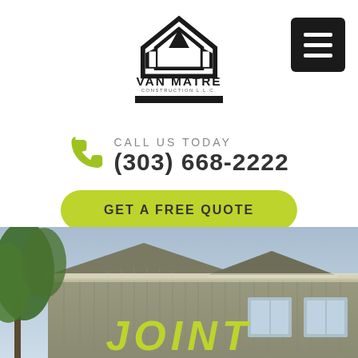[Figure (logo): Van Matre Construction LLC logo — black architectural house/building silhouette icon above bold text VAN MATRE with CONSTRUCTION L.L.C. below and a black bar at the bottom]
[Figure (other): Black hamburger menu button (three horizontal white lines on black rounded square) in top-right corner]
CALL US TODAY
(303) 668-2222
GET A FREE QUOTE
[Figure (photo): Photo of a house exterior showing board-and-batten tan/khaki vertical siding, peaked roofline, white-trimmed windows, and green trees on the left, with a cloudy sky background. The word JOINT appears in large yellow-green italic text at the bottom center of the image.]